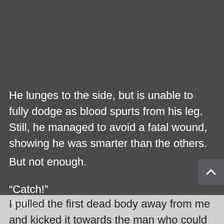He lunges to the side, but is unable to fully dodge as blood spurts from his leg. Still, he managed to avoid a fatal wound, showing he was smarter than the others.
But not enough.
“Catch!”
“Woah!”
I pulled the first dead body away from me and kicked it towards the man who could barely stand, pushing him down under the corpse that bled from its chin and head like a fountain.